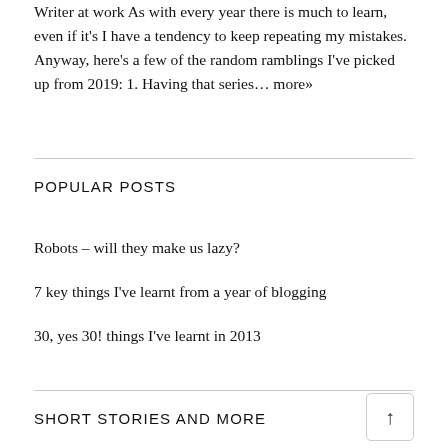Writer at work As with every year there is much to learn, even if it's I have a tendency to keep repeating my mistakes. Anyway, here's a few of the random ramblings I've picked up from 2019: 1. Having that series… more»
POPULAR POSTS
Robots – will they make us lazy?
7 key things I've learnt from a year of blogging
30, yes 30! things I've learnt in 2013
SHORT STORIES AND MORE